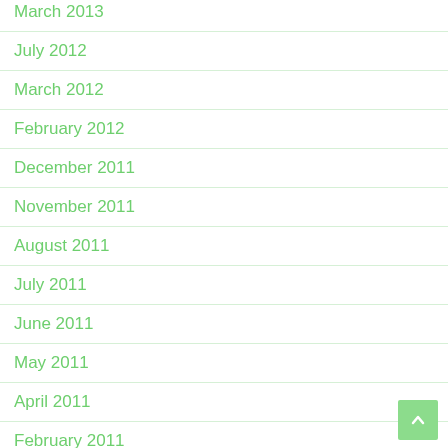March 2013
July 2012
March 2012
February 2012
December 2011
November 2011
August 2011
July 2011
June 2011
May 2011
April 2011
February 2011
January 2011